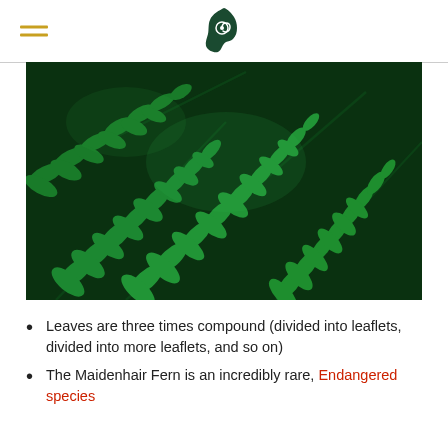[Logo: Maine nature/fern icon with hamburger menu]
[Figure (photo): Close-up photograph of bright green Maidenhair Fern fronds with intricate compound leaflets arranged in overlapping fan-like patterns against a dark background.]
Leaves are three times compound (divided into leaflets, divided into more leaflets, and so on)
The Maidenhair Fern is an incredibly rare, Endangered species